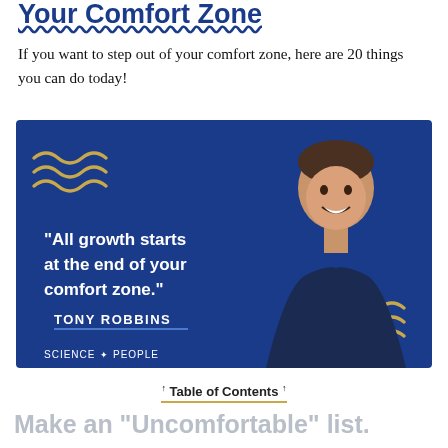Your Comfort Zone
If you want to step out of your comfort zone, here are 20 things you can do today!
[Figure (illustration): Blue promotional image with Tony Robbins quote: 'All growth starts at the end of your comfort zone.' — TONY ROBBINS. Science of People branding. Gold wavy decorations in corners. Photo of smiling man on right side.]
↑ Table of Contents ↑
Make an "Uncomfortable" list.